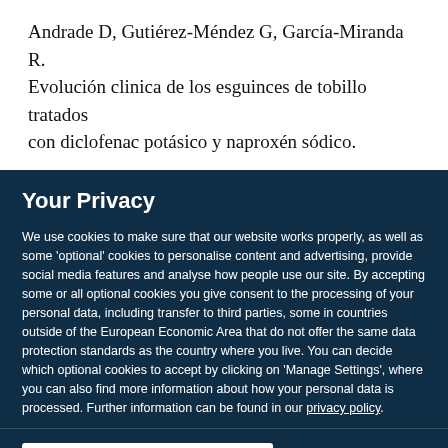Andrade D, Gutiérez-Méndez G, García-Miranda R. Evolución clinica de los esguinces de tobillo tratados con diclofenac potásico y naproxén sódico.
Your Privacy
We use cookies to make sure that our website works properly, as well as some 'optional' cookies to personalise content and advertising, provide social media features and analyse how people use our site. By accepting some or all optional cookies you give consent to the processing of your personal data, including transfer to third parties, some in countries outside of the European Economic Area that do not offer the same data protection standards as the country where you live. You can decide which optional cookies to accept by clicking on 'Manage Settings', where you can also find more information about how your personal data is processed. Further information can be found in our privacy policy.
Accept all cookies
Manage preferences